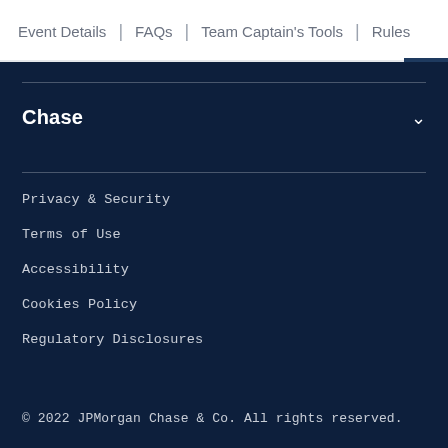Event Details | FAQs | Team Captain's Tools | Rules
Chase
Privacy & Security
Terms of Use
Accessibility
Cookies Policy
Regulatory Disclosures
© 2022 JPMorgan Chase & Co. All rights reserved.